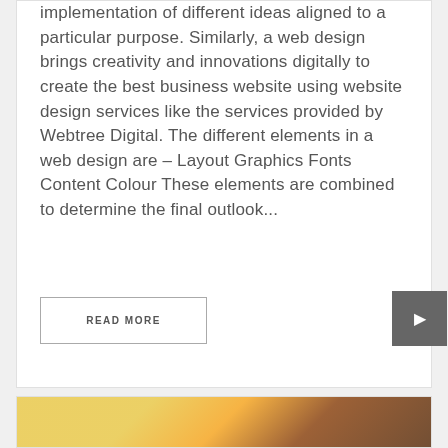implementation of different ideas aligned to a particular purpose. Similarly, a web design brings creativity and innovations digitally to create the best business website using website design services like the services provided by Webtree Digital. The different elements in a web design are – Layout Graphics Fonts Content Colour These elements are combined to determine the final outlook...
READ MORE
[Figure (photo): Partial view of a bottom image, appears to show an object with yellow/orange colors, partially cut off at the bottom of the page]